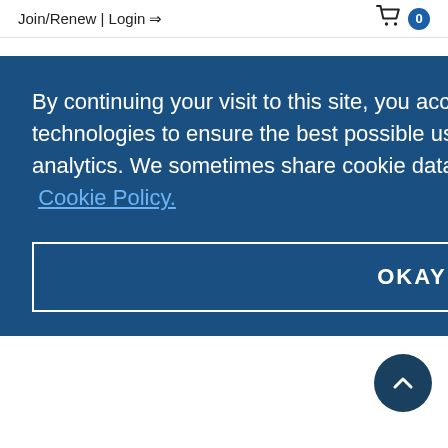Join/Renew | Login  🛒 0
By continuing your visit to this site, you accept the use of cookies and other technologies to ensure the best possible use of our site, including for web analytics. We sometimes share cookie data with third parties. Find out more in our Cookie Policy.
OKAY
ve been
England locations on exciting industry topics with engaging speakers and lively audience participation.
When it is safe to hold in-person Technical Dinner Mee... we will have our meetings in diverse New England locations to serve our membership base better. Technical Dinner Meetings